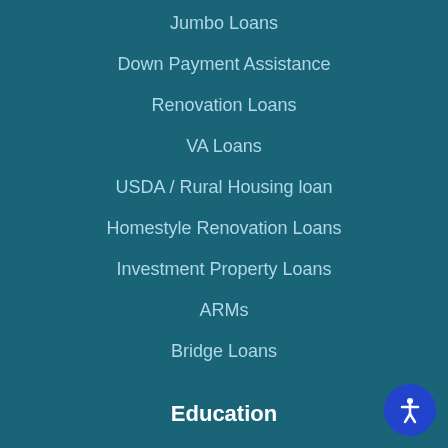Jumbo Loans
Down Payment Assistance
Renovation Loans
VA Loans
USDA / Rural Housing loan
Homestyle Renovation Loans
Investment Property Loans
ARMs
Bridge Loans
Education
Getting Started
Loan Programs
Your monthly payment